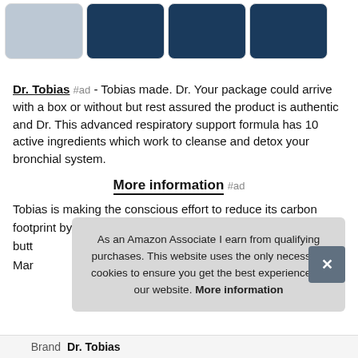[Figure (screenshot): Four product thumbnail images in a horizontal strip at the top of the page.]
Dr. Tobias #ad - Tobias made. Dr. Your package could arrive with a box or without but rest assured the product is authentic and Dr. This advanced respiratory support formula has 10 active ingredients which work to cleanse and detox your bronchial system.
More information #ad
Tobias is making the conscious effort to reduce its carbon footprint by eliminating our product boxes. Made with the high... butt... Mar...
As an Amazon Associate I earn from qualifying purchases. This website uses the only necessary cookies to ensure you get the best experience on our website. More information
| Brand |
| --- |
| Dr. Tobias |